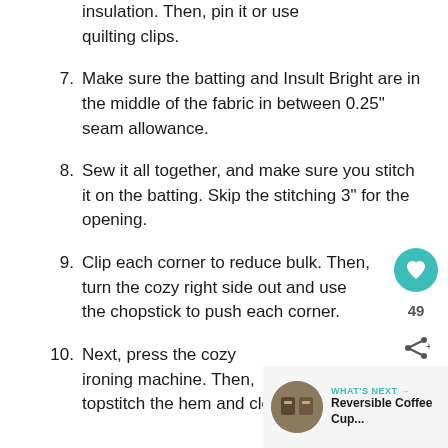insulation. Then, pin it or use quilting clips.
7. Make sure the batting and Insult Bright are in the middle of the fabric in between 0.25" seam allowance.
8. Sew it all together, and make sure you stitch it on the batting. Skip the stitching 3" for the opening.
9. Clip each corner to reduce bulk. Then, turn the cozy right side out and use the chopstick to push each corner.
10. Next, press the cozy ironing machine. Then, topstitch the hem and close